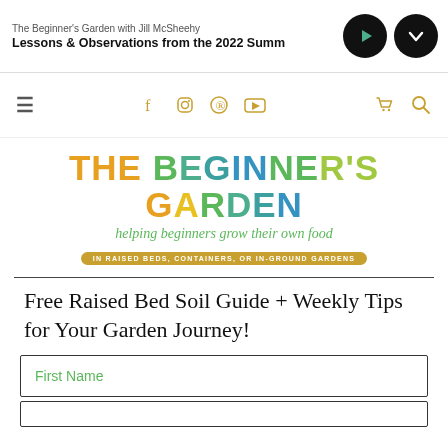The Beginner's Garden with Jill McSheehy — Lessons & Observations from the 2022 Summ
[Figure (screenshot): Navigation bar with hamburger menu, social media icons (Facebook, Instagram, Pinterest, YouTube), cart and search icons in gold/tan color]
[Figure (logo): The Beginner's Garden logo with multicolored text, subtitle 'helping beginners grow their own food', and tag 'IN RAISED BEDS, CONTAINERS, OR IN-GROUND GARDENS']
Free Raised Bed Soil Guide + Weekly Tips for Your Garden Journey!
First Name